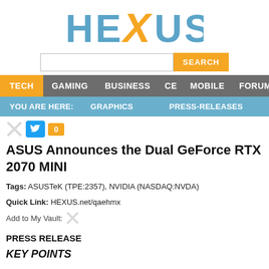[Figure (logo): HEXUS website logo with stylized text, X letter in orange/gold]
[Figure (screenshot): Search bar with text input and orange SEARCH button]
TECH  GAMING  BUSINESS  CE  MOBILE  FORUMS
YOU ARE HERE:  GRAPHICS  PRESS-RELEASES
[Figure (infographic): Social share icons: X icon, Twitter bird button in blue, orange 0 count badge]
ASUS Announces the Dual GeForce RTX 2070 MINI
Tags: ASUSTeK (TPE:2357), NVIDIA (NASDAQ:NVDA)
Quick Link: HEXUS.net/qaehmx
Add to My Vault:
PRESS RELEASE
KEY POINTS